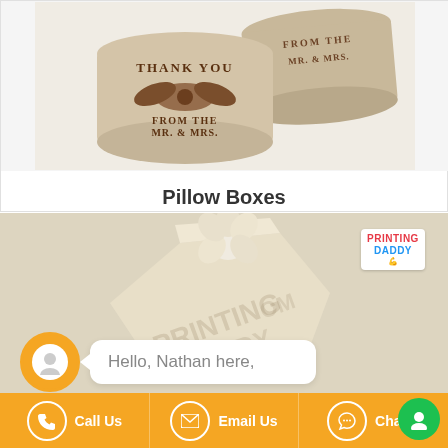[Figure (photo): Kraft paper pillow boxes with brown ribbon bow and 'THANK YOU FROM THE MR. & MRS.' text stamped on them, displayed on a white background]
Pillow Boxes
[Figure (photo): Cream/beige geometric box with flower-shaped top, watermarked, with Printing Daddy logo in corner and a chat widget showing 'Hello, Nathan here,']
Hello, Nathan here,
Call Us   Email Us   Chat Us